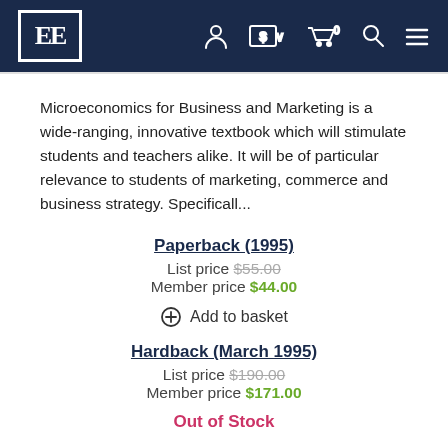EE [logo] — navigation icons: account, currency ($), cart (0), search, menu
Microeconomics for Business and Marketing is a wide-ranging, innovative textbook which will stimulate students and teachers alike. It will be of particular relevance to students of marketing, commerce and business strategy. Specificall...
Paperback (1995)
List price $55.00
Member price $44.00
⊕ Add to basket
Hardback (March 1995)
List price $190.00
Member price $171.00
Out of Stock